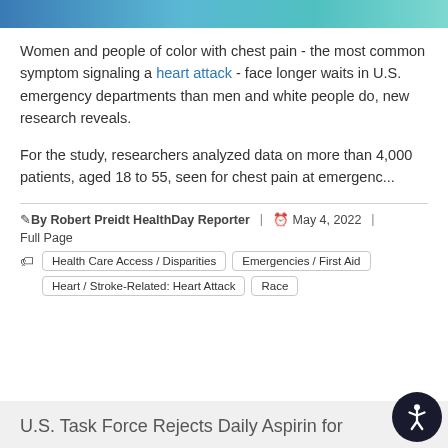[Figure (photo): Partial view of a medical/health-related image banner at the top of the page]
Women and people of color with chest pain - the most common symptom signaling a heart attack - face longer waits in U.S. emergency departments than men and white people do, new research reveals.
For the study, researchers analyzed data on more than 4,000 patients, aged 18 to 55, seen for chest pain at emergenc...
By Robert Preidt HealthDay Reporter | May 4, 2022 | Full Page
Health Care Access / Disparities | Emergencies / First Aid | Heart / Stroke-Related: Heart Attack | Race
U.S. Task Force Rejects Daily Aspirin for